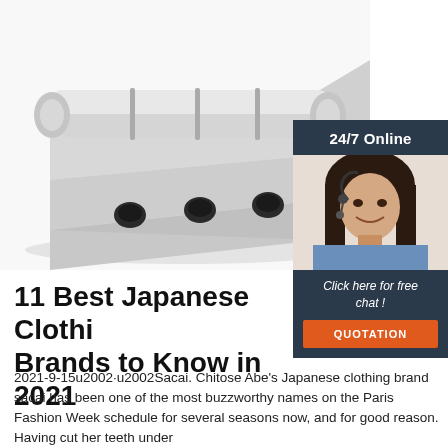[Figure (photo): Close-up photo of a stainless steel door hinge with cylindrical pin and screw holes, on white background]
[Figure (photo): Chat widget showing a woman with headset smiling, with '24/7 Online' header, 'Click here for free chat!' text, and orange QUOTATION button]
11 Best Japanese Clothing Brands to Know in 2021
2021-9-15u2002·u2002Sacai. Chitose Abe's Japanese clothing brand sacai has been one of the most buzzworthy names on the Paris Fashion Week schedule for several seasons now, and for good reason. Having cut her teeth under COMME des GARÇONS and Junya Watanabe,